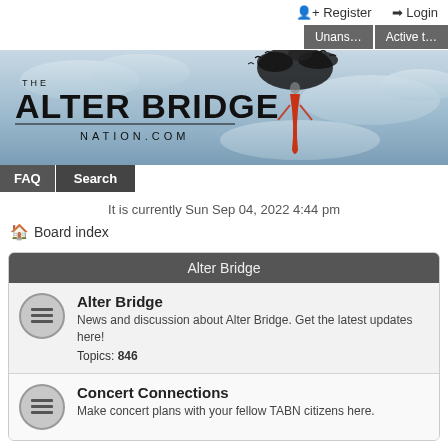Register  Login
[Figure (screenshot): Navigation tab buttons: Unans... and Active t...]
[Figure (illustration): The Alter Bridge Nation.com banner with logo text and silhouette figure with birds/dark cloud above head against cloudy sky background]
FAQ  Search
It is currently Sun Sep 04, 2022 4:44 pm
Board index
Alter Bridge
Alter Bridge
News and discussion about Alter Bridge. Get the latest updates here!
Topics: 846
Concert Connections
Make concert plans with your fellow TABN citizens here.